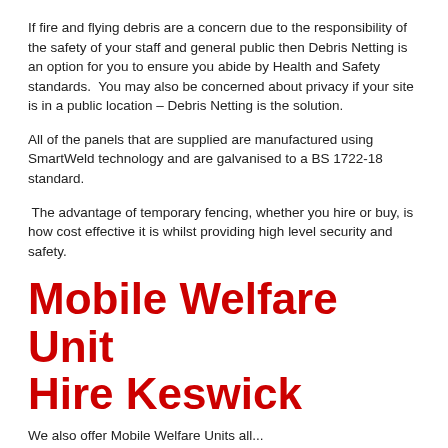If fire and flying debris are a concern due to the responsibility of the safety of your staff and general public then Debris Netting is an option for you to ensure you abide by Health and Safety standards.  You may also be concerned about privacy if your site is in a public location – Debris Netting is the solution.
All of the panels that are supplied are manufactured using SmartWeld technology and are galvanised to a BS 1722-18 standard.
The advantage of temporary fencing, whether you hire or buy, is how cost effective it is whilst providing high level security and safety.
Mobile Welfare Unit Hire Keswick
We also offer Mobile Welfare Units all...